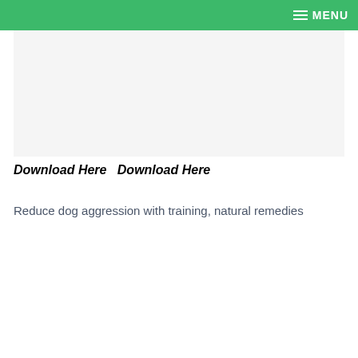MENU
[Figure (other): Light gray placeholder image area]
Download Here  Download Here
Reduce dog aggression with training, natural remedies